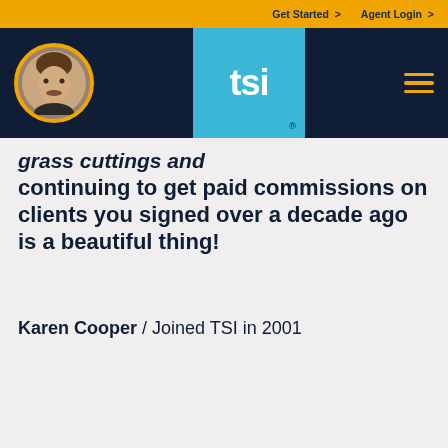Get Started > Agent Login >
[Figure (logo): TSI logo with agent avatar and hamburger menu on dark navy navigation bar]
...grass cuttings and continuing to get paid commissions on clients you signed over a decade ago is a beautiful thing!
Karen Cooper / Joined TSI in 2001